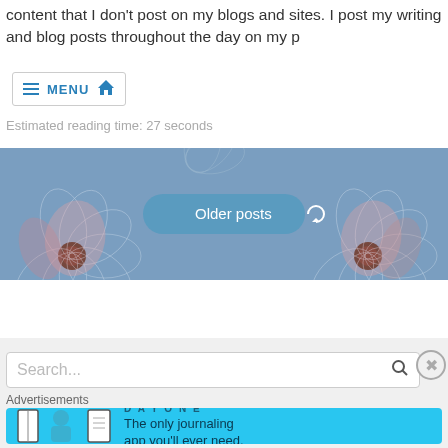content that I don't post on my blogs and sites. I post my writing and blog posts throughout the day on my p
[Figure (screenshot): Navigation menu bar with hamburger icon, MENU text in blue, and home icon in blue]
Estimated reading time: 27 seconds
[Figure (illustration): Decorative banner with blue/purple background featuring stylized flower illustrations in pink and white tones, with an 'Older posts' button with refresh icon in the center]
Search...
Advertisements
[Figure (screenshot): Day One app advertisement banner with blue background showing 'DAY ONE' text with icons and 'The only journaling app you'll ever need.' tagline]